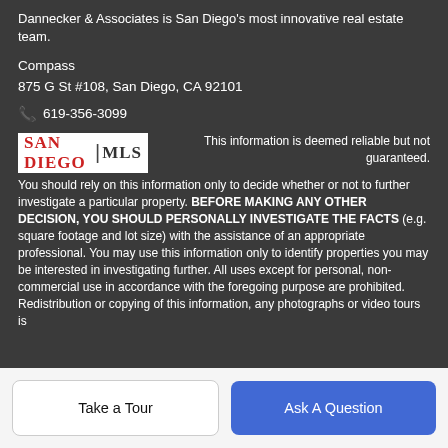Dannecker & Associates is San Diego's most innovative real estate team.
Compass
875 G St #108, San Diego, CA 92101
619-356-3099
[Figure (logo): San Diego MLS logo with red 'SAN DIEGO' text and dark 'MLS' text separated by a vertical bar, on white background]
This information is deemed reliable but not guaranteed. You should rely on this information only to decide whether or not to further investigate a particular property. BEFORE MAKING ANY OTHER DECISION, YOU SHOULD PERSONALLY INVESTIGATE THE FACTS (e.g. square footage and lot size) with the assistance of an appropriate professional. You may use this information only to identify properties you may be interested in investigating further. All uses except for personal, non-commercial use in accordance with the foregoing purpose are prohibited. Redistribution or copying of this information, any photographs or video tours is
Take a Tour
Ask A Question